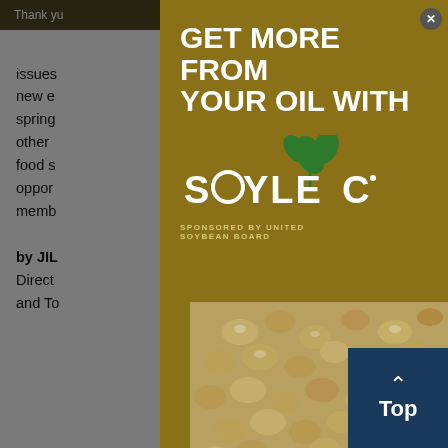Thank you ... tools you
issues ... ke the new e... spring... om other ..., food s... ther oppor... IFT memb...
by JIL... Director... and To...
[Figure (advertisement): Advertisement modal overlay for Soyleic oil product, sponsored by United Soybean Board. Gold background with white bold text: GET MORE FROM YOUR OUR OIL WITH, Soyleic logo with green plant icon, soybean texture photo in lower right, close button top right.]